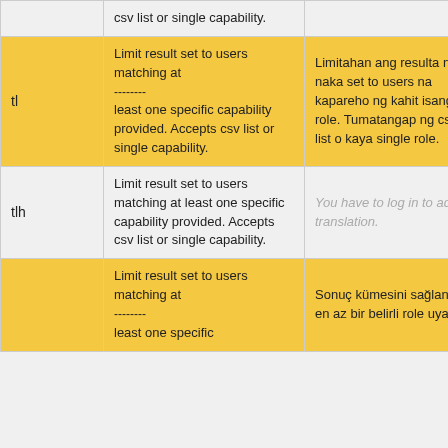|  | English | Translation |  |
| --- | --- | --- | --- |
|  | csv list or single capability. |  |  |
| tl | Limit result set to users matching at -------- least one specific capability provided. Accepts csv list or single capability. | Limitahan ang resulta na naka set to users na kapareho ng kahit isang role. Tumatangap ng csv list o kaya single role. | Details |
| tlh | Limit result set to users matching at least one specific capability provided. Accepts csv list or single capability. | You have to log in to add a translation. | Details |
|  | Limit result set to users matching at -------- least one specific... | Sonuç kümesini sağlanan en az bir belirli role uyan... |  |